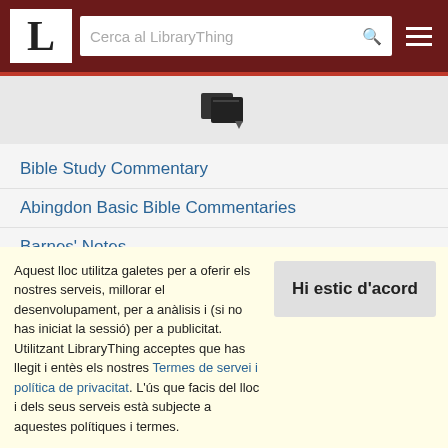LibraryThing - Cerca al LibraryThing
[Figure (logo): LibraryThing logo: white box with large serif letter L, followed by search bar with placeholder 'Cerca al LibraryThing' and hamburger menu icon, all on dark red background]
[Figure (illustration): Book/document stack icon with a small downward arrow]
Bible Study Commentary
Abingdon Basic Bible Commentaries
Barnes' Notes
Beacon Bible Commentary
(mostra tots els 23 ítems)
Aquest lloc utilitza galetes per a oferir els nostres serveis, millorar el desenvolupament, per a anàlisis i (si no has iniciat la sessió) per a publicitat. Utilitzant LibraryThing acceptes que has llegit i entès els nostres Termes de servei i política de privacitat. L'ús que facis del lloc i dels seus serveis està subjecte a aquestes polítiques i termes.